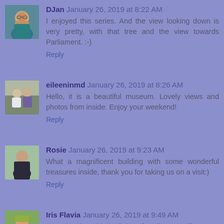[Figure (photo): Avatar photo of DJan, an older woman with glasses]
DJan January 26, 2019 at 8:22 AM
I enjoyed this series. And the view looking down is very pretty, with that tree and the view towards Parliament. :-)
Reply
[Figure (photo): Avatar photo of eileeninmd, a couple outdoors]
eileeninmd January 26, 2019 at 8:26 AM
Hello, it is a beautiful museum. Lovely views and photos from inside. Enjoy your weekend!
Reply
[Figure (photo): Avatar photo of Rosie, a woman in a dark dress]
Rosie January 26, 2019 at 9:23 AM
What a magnificent building with some wonderful treasures inside, thank you for taking us on a visit:)
Reply
[Figure (photo): Avatar photo of Iris Flavia, a woman with a hat]
Iris Flavia January 26, 2019 at 9:49 AM
Love the shot with the lights of Parliament Hill!!